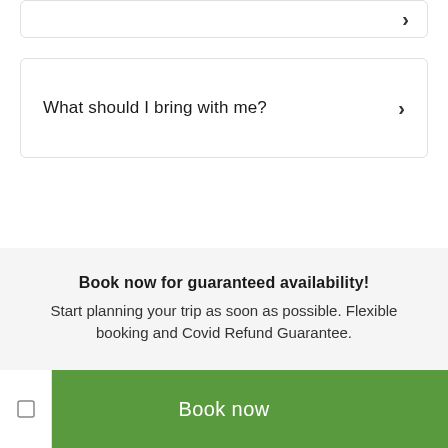►
What should I bring with me? ►
Book now for guaranteed availability! Start planning your trip as soon as possible. Flexible booking and Covid Refund Guarantee.
Book now